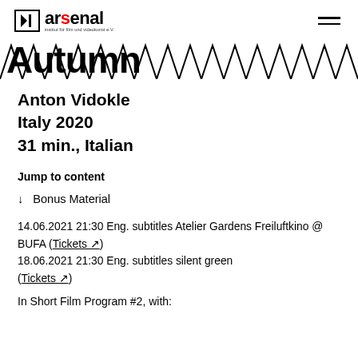arsenal – institut für film und videokunst e.V.
[Figure (illustration): Zigzag/chevron decorative banner with large stylized text 'Autumn' (written in a decorative wavy font) overlaid on repeating zigzag triangle pattern across full width]
Anton Vidokle
Italy 2020
31 min., Italian
Jump to content
↓  Bonus Material
14.06.2021 21:30 Eng. subtitles Atelier Gardens Freiluftkino @ BUFA (Tickets ↗)
18.06.2021 21:30 Eng. subtitles silent green (Tickets ↗)
In Short Film Program #2, with: